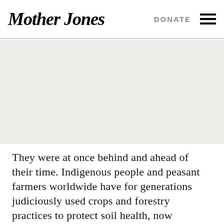Mother Jones | DONATE
[Figure (photo): Large image placeholder area with light gray/beige background, no visible image content]
They were at once behind and ahead of their time. Indigenous people and peasant farmers worldwide have for generations judiciously used crops and forestry practices to protect soil health, now commonly known as regenerative agriculture.